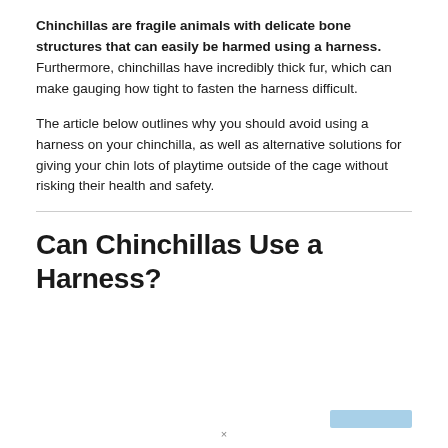Chinchillas are fragile animals with delicate bone structures that can easily be harmed using a harness. Furthermore, chinchillas have incredibly thick fur, which can make gauging how tight to fasten the harness difficult.
The article below outlines why you should avoid using a harness on your chinchilla, as well as alternative solutions for giving your chin lots of playtime outside of the cage without risking their health and safety.
Can Chinchillas Use a Harness?
[Figure (other): Light blue rectangle element at bottom right of page]